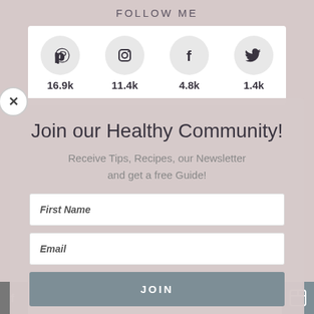FOLLOW ME
[Figure (infographic): Four social media icons in grey circles with follower counts: Pinterest 16.9k, Instagram 11.4k, Facebook 4.8k, Twitter 1.4k]
Join our Healthy Community!
Receive Tips, Recipes, our Newsletter and get a free Guide!
First Name
Email
JOIN
We hate spam, your email is safe with us!